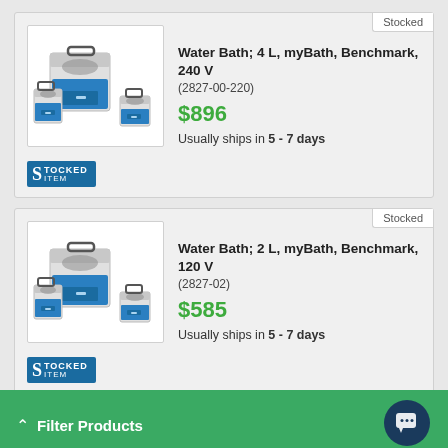Stocked
Water Bath; 4 L, myBath, Benchmark, 240 V
(2827-00-220)
$896
Usually ships in 5 - 7 days
[Figure (photo): Stocked item logo badge - blue background with S and STOCKED ITEM text]
Stocked
Water Bath; 2 L, myBath, Benchmark, 120 V
(2827-02)
$585
Usually ships in 5 - 7 days
[Figure (photo): Stocked item logo badge - blue background with S and STOCKED ITEM text]
Filter Products
Water Bath; 2 L, myBath, Benchmark, 240 V